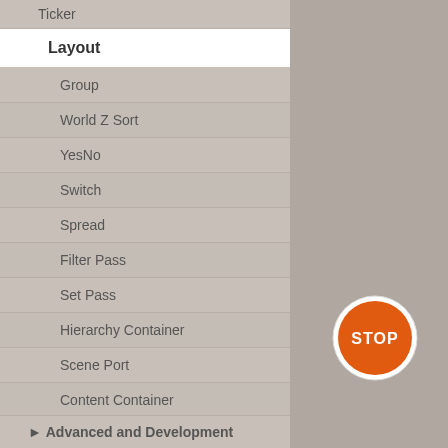Ticker
Layout
Group
World Z Sort
YesNo
Switch
Spread
Filter Pass
Set Pass
Hierarchy Container
Scene Port
Content Container
Template Port
Container Info
Camera
Paths
Advanced and Development
[Figure (illustration): Orange STOP sign icon]